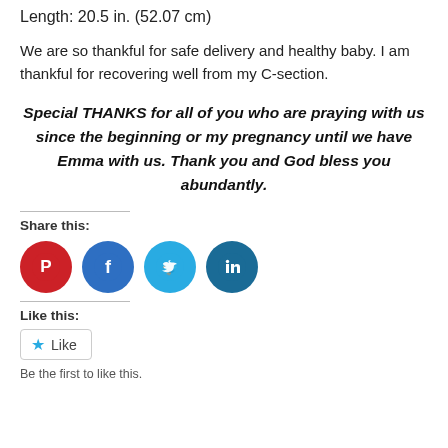Length: 20.5 in. (52.07 cm)
We are so thankful for safe delivery and healthy baby. I am thankful for recovering well from my C-section.
Special THANKS for all of you who are praying with us since the beginning or my pregnancy until we have Emma with us. Thank you and God bless you abundantly.
Share this:
[Figure (infographic): Four social media icon circles: Pinterest (red), Facebook (blue), Twitter (light blue), LinkedIn (dark blue)]
Like this:
[Figure (infographic): Like button with star icon]
Be the first to like this.